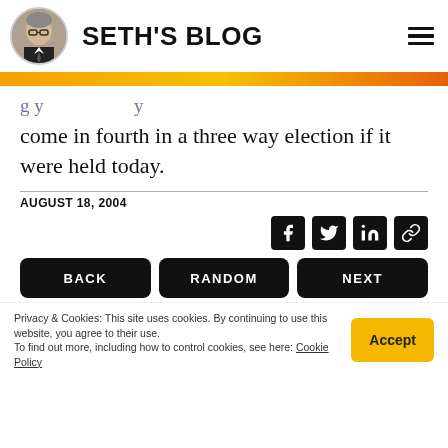SETH'S BLOG
come in fourth in a three way election if it were held today.
AUGUST 18, 2004
[Figure (other): Social sharing icons: Facebook, Twitter, LinkedIn, Link]
BACK   RANDOM   NEXT
Privacy & Cookies: This site uses cookies. By continuing to use this website, you agree to their use. To find out more, including how to control cookies, see here: Cookie Policy